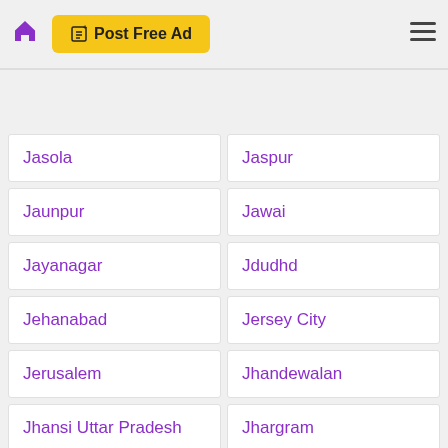Post Free Ad
Jasola
Jaspur
Jaunpur
Jawai
Jayanagar
Jdudhd
Jehanabad
Jersey City
Jerusalem
Jhandewalan
Jhansi Uttar Pradesh
Jhargram
Jharkhand
Jhunjhunu